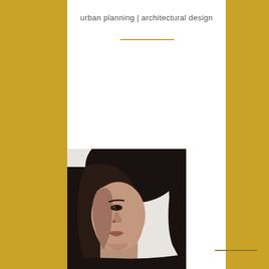urban planning | architectural design
[Figure (photo): Black and white portrait photo of a woman with dark straight hair, showing the left half of her face, cropped at bottom of frame. She appears to be wearing a dark turtleneck.]